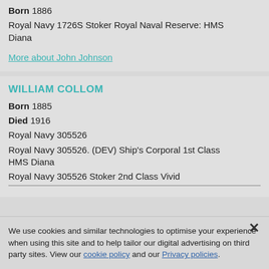Born 1886
Royal Navy 1726S Stoker Royal Naval Reserve: HMS Diana
More about John Johnson
WILLIAM COLLOM
Born 1885
Died 1916
Royal Navy 305526
Royal Navy 305526. (DEV) Ship's Corporal 1st Class HMS Diana
Royal Navy 305526 Stoker 2nd Class Vivid
We use cookies and similar technologies to optimise your experience when using this site and to help tailor our digital advertising on third party sites. View our cookie policy and our Privacy policies.